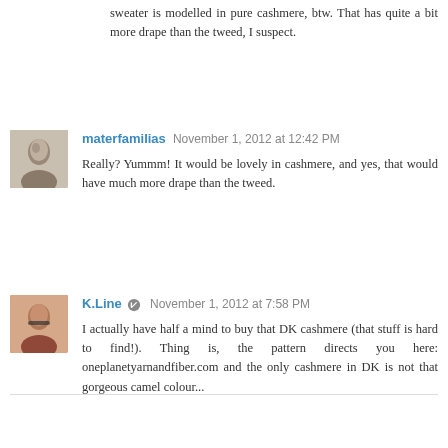sweater is modelled in pure cashmere, btw. That has quite a bit more drape than the tweed, I suspect.
materfamilias November 1, 2012 at 12:42 PM
Really? Yummm! It would be lovely in cashmere, and yes, that would have much more drape than the tweed.
K.Line November 1, 2012 at 7:58 PM
I actually have half a mind to buy that DK cashmere (that stuff is hard to find!). Thing is, the pattern directs you here: oneplanetyarnandfiber.com and the only cashmere in DK is not that gorgeous camel colour...
Reply